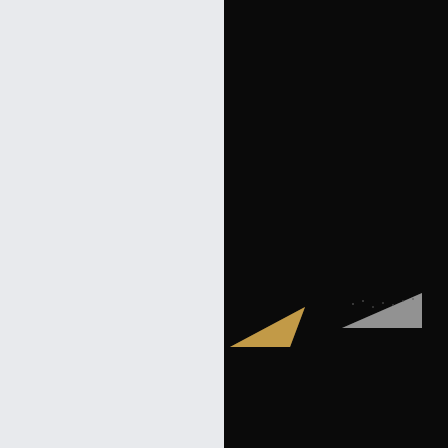[Figure (photo): Museum exhibition photograph showing a partially cropped scene. Left half is a light gray/white background (wall or partition). Right half is a very dark/black background with a white museum label card in the upper right showing text about a hand-crafted object from The Ogden collection. In the lower center-right area, two objects are partially visible: a gold/tan triangular shape and a grayish textured triangular shape on a dark display surface.]